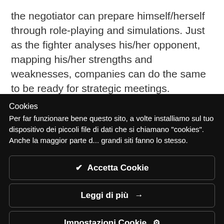the negotiator can prepare himself/herself through role-playing and simulations. Just as the fighter analyses his/her opponent, mapping his/her strengths and weaknesses, companies can do the same to be ready for strategic meetings.
Cookies
Per far funzionare bene questo sito, a volte installiamo sul tuo dispositivo dei piccoli file di dati che si chiamano "cookies". Anche la maggior parte d... grandi siti fanno lo stesso.
✔ Accetta Cookie
Leggi di più →
Impostazioni Cookie ⚙